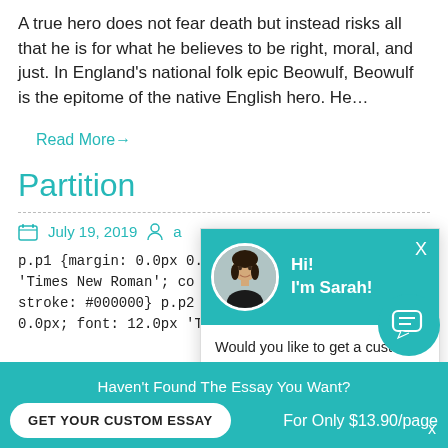A true hero does not fear death but instead risks all that he is for what he believes to be right, moral, and just. In England's national folk epic Beowulf, Beowulf is the epitome of the native English hero. He…
Read More→
Partition
July 19, 2019   a
p.p1 {margin: 0.0px 0.0… 'Times New Roman'; co… stroke: #000000} p.p2 {margin: 0.0px 0.0px 0.0p… 0.0px; font: 12.0px 'Times New Roman'; color:
[Figure (screenshot): Chat popup with teal header showing a woman's photo avatar, greeting 'Hi! I'm Sarah!', body text 'Would you like to get a custom essay? How about receiving a customized one?', and a 'Check it out' link with underline.]
[Figure (infographic): Floating teal circular chat bubble button with message icon, bottom-right corner.]
Haven't Found The Essay You Want?
GET YOUR CUSTOM ESSAY
For Only $13.90/page